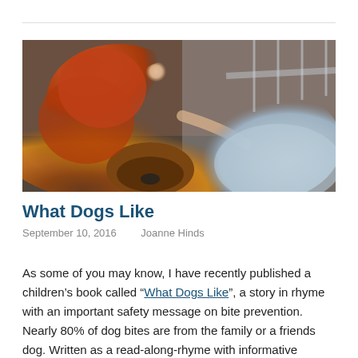[Figure (photo): A red-haired girl in a light blue/grey dress lying on a large golden-brown fluffy dog outdoors, eyes closed, peaceful expression.]
What Dogs Like
September 10, 2016   Joanne Hinds
As some of you may know, I have recently published a children's book called “What Dogs Like”, a story in rhyme with an important safety message on bite prevention. Nearly 80% of dog bites are from the family or a friends dog. Written as a read-along-rhyme with informative illustrations, “What dogs like” has been shown to ...